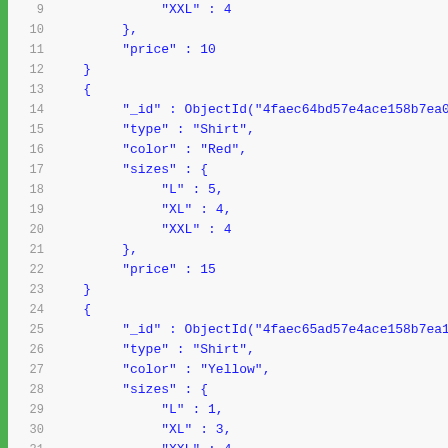Code listing showing MongoDB JSON documents with shirt and sweat shirt inventory records, lines 9-42